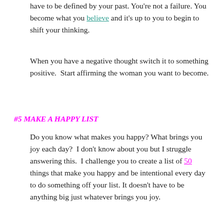have to be defined by your past. You're not a failure. You become what you believe and it's up to you to begin to shift your thinking.
When you have a negative thought switch it to something positive. Start affirming the woman you want to become.
#5 MAKE A HAPPY LIST
Do you know what makes you happy? What brings you joy each day? I don't know about you but I struggle answering this. I challenge you to create a list of 50 things that make you happy and be intentional every day to do something off your list. It doesn't have to be anything big just whatever brings you joy.